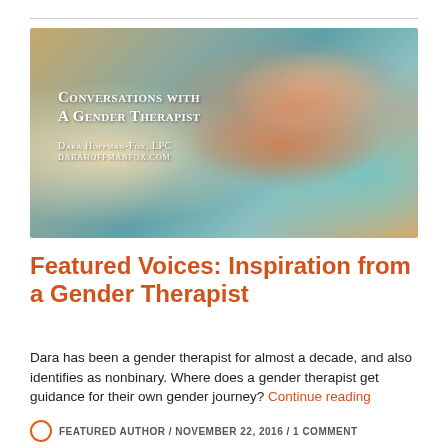[Figure (photo): Photo of Dara Hoffman-Fox smiling, with overlaid text reading 'Conversations with A Gender Therapist / Dara Hoffman-Fox, LPC / darahoffmanfox.com']
Featured Voices: Inspiration from a Gender Therapist
Dara has been a gender therapist for almost a decade, and also identifies as nonbinary. Where does a gender therapist get guidance for their own gender journey? Continue reading
FEATURED AUTHOR / NOVEMBER 22, 2016 / 1 COMMENT